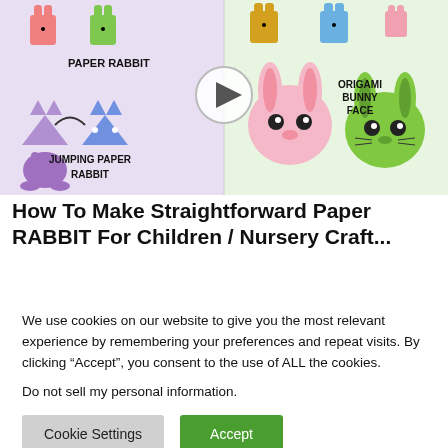[Figure (screenshot): Video thumbnail showing colorful paper origami rabbits/bunnies in various styles with labels: PAPER RABBIT, JUMPING PAPER RABBIT, ORIGAMI BUNNY FACE, and a play button in the center.]
How To Make Straightforward Paper RABBIT For Children / Nursery Craft...
We use cookies on our website to give you the most relevant experience by remembering your preferences and repeat visits. By clicking “Accept”, you consent to the use of ALL the cookies.
Do not sell my personal information.
Cookie Settings
Accept